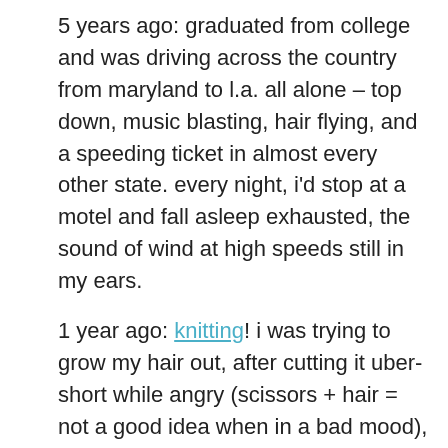5 years ago: graduated from college and was driving across the country from maryland to l.a. all alone – top down, music blasting, hair flying, and a speeding ticket in almost every other state. every night, i'd stop at a motel and fall asleep exhausted, the sound of wind at high speeds still in my ears.
1 year ago: knitting! i was trying to grow my hair out, after cutting it uber-short while angry (scissors + hair = not a good idea when in a bad mood), and feeling stir crazy, stuck in los angeles.
yesterday: moody all morning, better by night. stuffed myself sick before going to sleep, realizing i like peanut brittle more than i thought.
today: happy, chatty, following one topic after another on the internet, i.e. browsing like there's no tomorrow